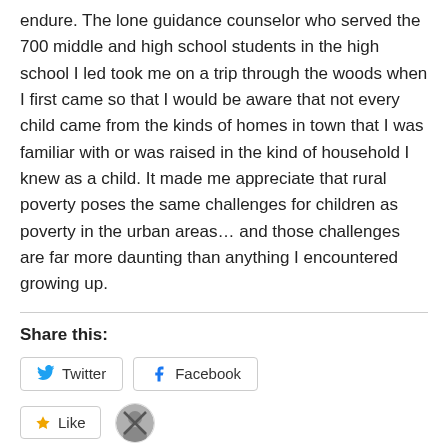endure. The lone guidance counselor who served the 700 middle and high school students in the high school I led took me on a trip through the woods when I first came so that I would be aware that not every child came from the kinds of homes in town that I was familiar with or was raised in the kind of household I knew as a child. It made me appreciate that rural poverty poses the same challenges for children as poverty in the urban areas… and those challenges are far more daunting than anything I encountered growing up.
Share this:
Twitter  Facebook
Like
One blogger likes this